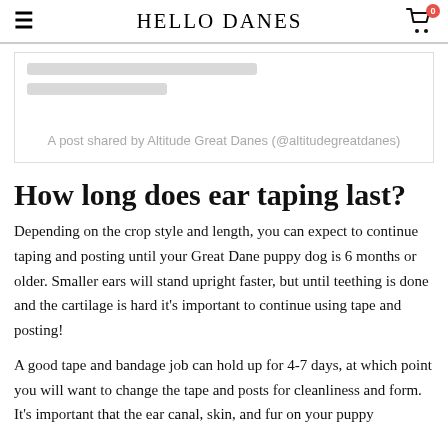HELLO DANES
[Figure (screenshot): Embedded social media post placeholder with loading bars and caption: A post shared by Altitude Great Danes (@altitudegreatdanes)]
How long does ear taping last?
Depending on the crop style and length, you can expect to continue taping and posting until your Great Dane puppy dog is 6 months or older. Smaller ears will stand upright faster, but until teething is done and the cartilage is hard it's important to continue using tape and posting!
A good tape and bandage job can hold up for 4-7 days, at which point you will want to change the tape and posts for cleanliness and form. It's important that the ear canal, skin, and fur on your puppy